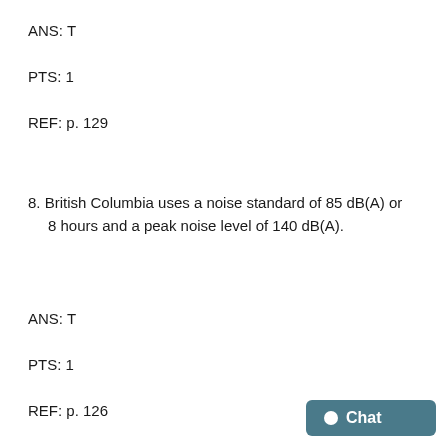ANS: T
PTS: 1
REF: p. 129
8. British Columbia uses a noise standard of 85 dB(A) or 8 hours and a peak noise level of 140 dB(A).
ANS: T
PTS: 1
REF: p. 126